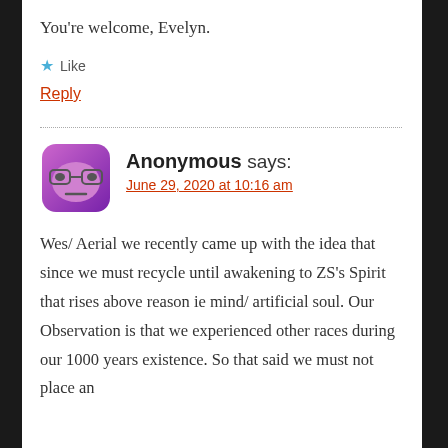You're welcome, Evelyn.
★ Like
Reply
Anonymous says: June 29, 2020 at 10:16 am
Wes/ Aerial we recently came up with the idea that since we must recycle until awakening to ZS's Spirit that rises above reason ie mind/ artificial soul. Our Observation is that we experienced other races during our 1000 years existence. So that said we must not place an